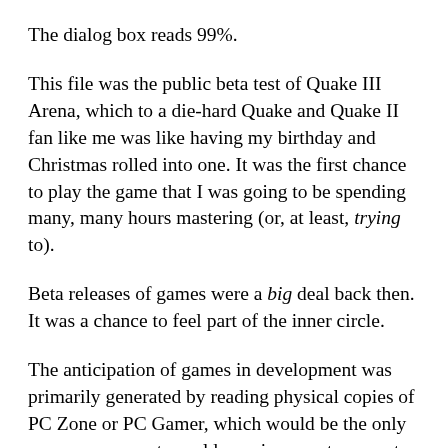The dialog box reads 99%.
This file was the public beta test of Quake III Arena, which to a die-hard Quake and Quake II fan like me was like having my birthday and Christmas rolled into one. It was the first chance to play the game that I was going to be spending many, many hours mastering (or, at least, trying to).
Beta releases of games were a big deal back then. It was a chance to feel part of the inner circle.
The anticipation of games in development was primarily generated by reading physical copies of PC Zone or PC Gamer, which would be the only reason my parents could convince me to come to the supermarket.
I would browse the screenshots of current builds, which